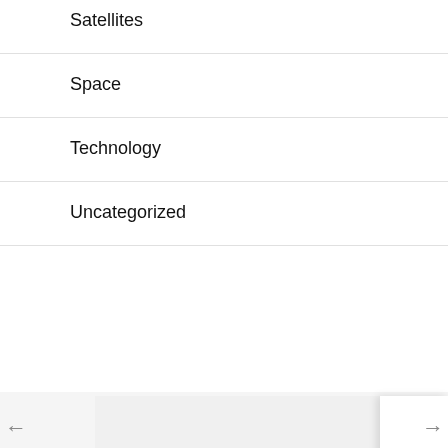Satellites
Space
Technology
Uncategorized
Meta
Log in
Entries feed
Comments feed